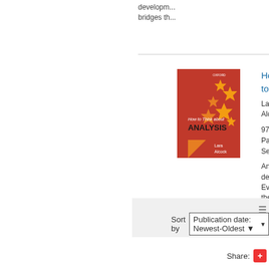development
bridges th
[Figure (illustration): Book cover of 'How to Think about Analysis' by Lara Alcock, red background with orange star shapes]
How to
Lara Alco
9780198
Paperback
September
Analysis
degrees.
Even the
unprepar
ensure th
Sort by  Publication date: Newest-Oldest
Share: